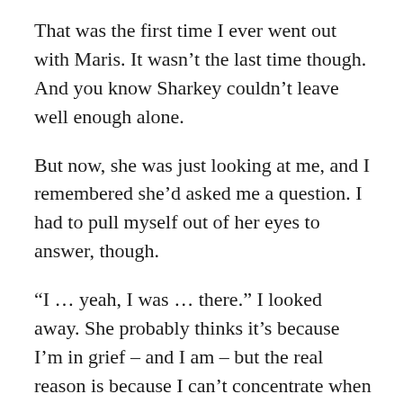That was the first time I ever went out with Maris. It wasn't the last time though. And you know Sharkey couldn't leave well enough alone.
But now, she was just looking at me, and I remembered she'd asked me a question. I had to pull myself out of her eyes to answer, though.
“I … yeah, I was … there.” I looked away. She probably thinks it’s because I’m in grief – and I am – but the real reason is because I can’t concentrate when she looks at me like that. Or at all.
She reached out and took my hand, and my heart stopped. So did the rest of the world. The touch of her